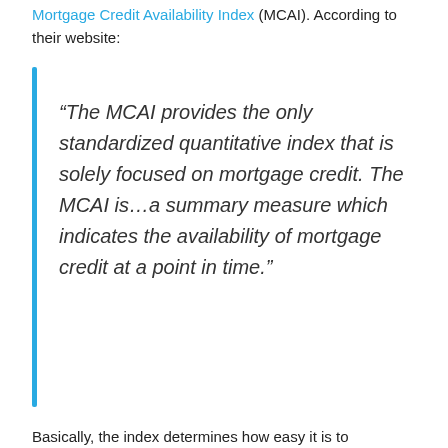Mortgage Credit Availability Index (MCAI). According to their website:
“The MCAI provides the only standardized quantitative index that is solely focused on mortgage credit. The MCAI is…a summary measure which indicates the availability of mortgage credit at a point in time.”
Basically, the index determines how easy it is to